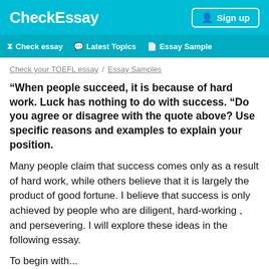CheckEssay | Sign up | Check essay | Latest Topics | Essay Sample
Check your TOEFL essay / Essay Samples
“When people succeed, it is because of hard work. Luck has nothing to do with success. “Do you agree or disagree with the quote above? Use specific reasons and examples to explain your position.
Many people claim that success comes only as a result of hard work, while others believe that it is largely the product of good fortune. I believe that success is only achieved by people who are diligent, hard-working , and persevering. I will explore these ideas in the following essay.
To begin with...